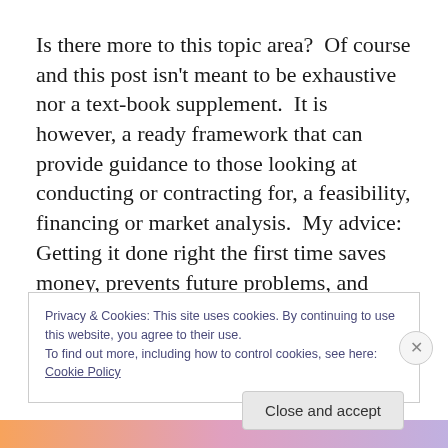Is there more to this topic area?  Of course and this post isn't meant to be exhaustive nor a text-book supplement.  It is however, a ready framework that can provide guidance to those looking at conducting or contracting for, a feasibility, financing or market analysis.  My advice: Getting it done right the first time saves money, prevents future problems, and assists with positive outcomes for
Privacy & Cookies: This site uses cookies. By continuing to use this website, you agree to their use.
To find out more, including how to control cookies, see here: Cookie Policy
Close and accept